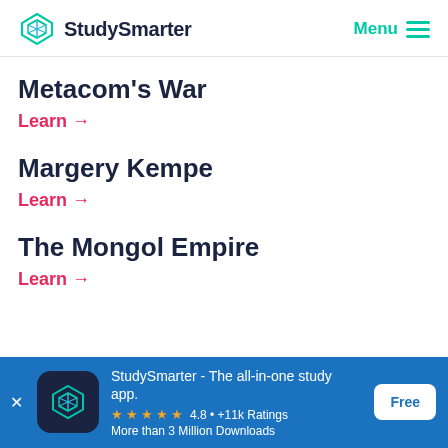StudySmarter | Menu
Metacom's War
Learn →
Margery Kempe
Learn →
The Mongol Empire
Learn →
StudySmarter - The all-in-one study app. ★★★★★ 4.8 • +11k Ratings More than 3 Million Downloads Free